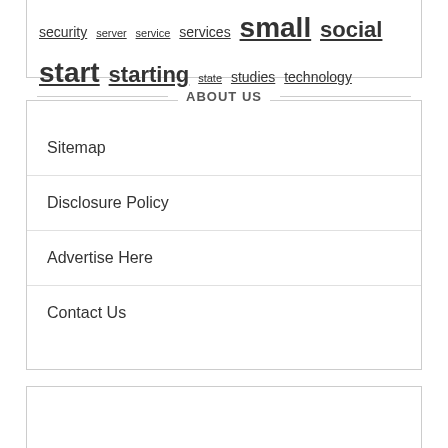security server service services small social start starting state studies technology
ABOUT US
Sitemap
Disclosure Policy
Advertise Here
Contact Us